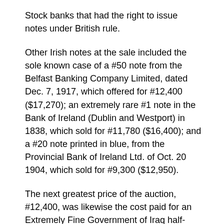Stock banks that had the right to issue notes under British rule.
Other Irish notes at the sale included the sole known case of a #50 note from the Belfast Banking Company Limited, dated Dec. 7, 1917, which offered for #12,400 ($17,270); an extremely rare #1 note in the Bank of Ireland (Dublin and Westport) in 1838, which sold for #11,780 ($16,400); and a #20 note printed in blue, from the Provincial Bank of Ireland Ltd. of Oct. 20 1904, which sold for #9,300 ($12,950).
The next greatest price of the auction, #12,400, was likewise the cost paid for an Extremely Fine Government of Iraq half-dinar note from 1948. The price was five times its high estimate of 2,200.
A 10-dinar note from the Central Bank of Iraq, dating from